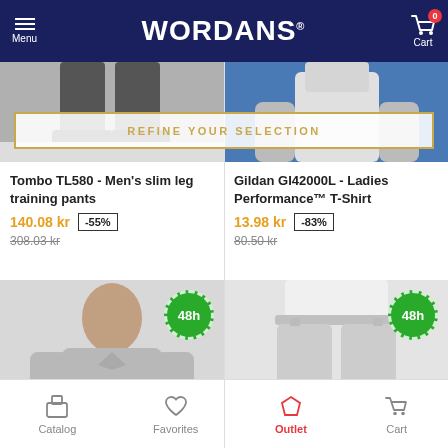WORDANS
[Figure (photo): Top portion of product photos - left shows men's training pants (legs/shoes visible), right shows ladies t-shirt (torso with blue background)]
REFINE YOUR SELECTION
Tombo TL580 - Men's slim leg training pants
140.08 kr
-55%
308.03 kr
Gildan GI42000L - Ladies Performance™ T-Shirt
13.98 kr
-83%
80.50 kr
[Figure (photo): Man wearing light grey long-sleeve polo shirt with 48h delivery badge]
[Figure (photo): Lower body wearing light grey sweatpants with 48h delivery badge]
Catalog  Favorites  Outlet  Cart